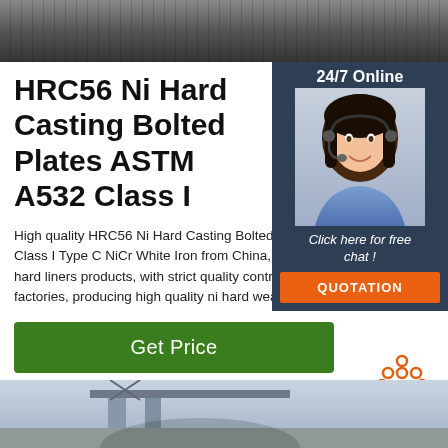[Figure (photo): Close-up photo of metal rails or hardware on a dark background]
HRC56 Ni Hard Casting Bolted Plates ASTM A532 Class I
High quality HRC56 Ni Hard Casting Bolted Plates ASTM A532 Class I Type C NiCr White Iron from China, China's leading ni hard liners products, with strict quality control ni hard wear plates factories, producing high quality ni hard wear plates products.
[Figure (infographic): Chat widget overlay with 24/7 Online badge, photo of customer service representative with headset, 'Click here for free chat!' text, and orange QUOTATION button]
[Figure (infographic): TOP navigation button with orange dots icon]
[Figure (photo): Photo of industrial infrastructure - bridge or construction site with crane]
Get Price